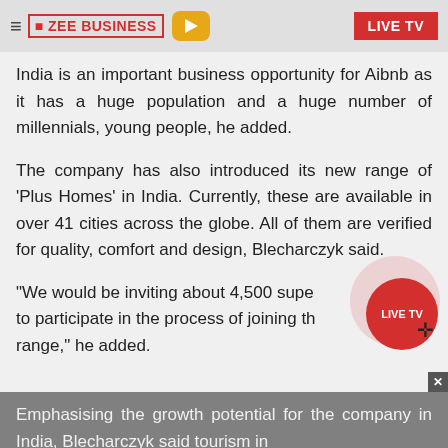ZEE BUSINESS | LIVE TV
India is an important business opportunity for Aibnb as it has a huge population and a huge number of millennials, young people, he added.
The company has also introduced its new range of 'Plus Homes' in India. Currently, these are available in over 41 cities across the globe. All of them are verified for quality, comfort and design, Blecharczyk said.
"We would be inviting about 4,500 super... to participate in the process of joining the... range," he added.
Emphasising the growth potential for the company in India, Blecharczyk said tourism in